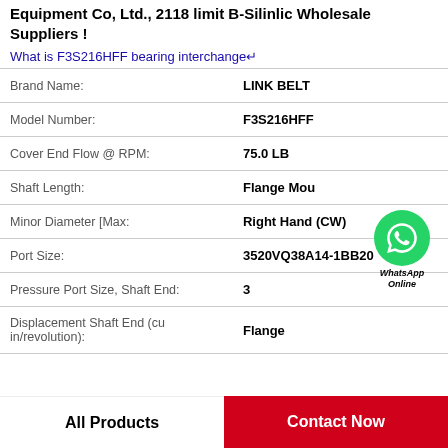Equipment Co, Ltd., 2118 limit B-Silinlic Wholesale Suppliers !
What is F3S216HFF bearing interchange↵
| Property | Value |
| --- | --- |
| Brand Name: | LINK BELT |
| Model Number: | F3S216HFF |
| Cover End Flow @ RPM: | 75.0 LB |
| Shaft Length: | Flange Mount |
| Minor Diameter [Max: | Right Hand (CW) |
| Port Size: | 3520VQ38A14-1BB20 |
| Pressure Port Size, Shaft End: | 3 |
| Displacement Shaft End (cu in/revolution): | Flange |
[Figure (illustration): WhatsApp Online contact button - green circle with phone icon and WhatsApp Online text]
All Products    Contact Now